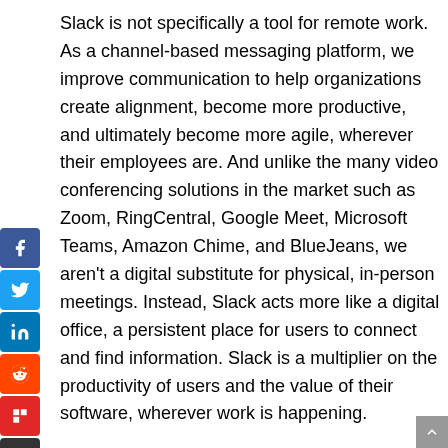Slack is not specifically a tool for remote work. As a channel-based messaging platform, we improve communication to help organizations create alignment, become more productive, and ultimately become more agile, wherever their employees are. And unlike the many video conferencing solutions in the market such as Zoom, RingCentral, Google Meet, Microsoft Teams, Amazon Chime, and BlueJeans, we aren't a digital substitute for physical, in-person meetings. Instead, Slack acts more like a digital office, a persistent place for users to connect and find information. Slack is a multiplier on the productivity of users and the value of their software, wherever work is happening.
During this crisis, the work being done on Slack is diverse and in many cases inspiring. A great example of organizational agility is Frontline Foods, a grassroots...